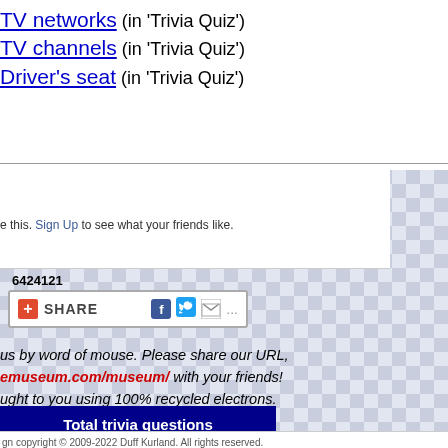TV networks (in 'Trivia Quiz')
TV channels (in 'Trivia Quiz')
Driver's seat (in 'Trivia Quiz')
e this. Sign Up to see what your friends like.
6424121
SHARE
us by word of mouse. Please share our URL, emuseum.com/museum/ with your friends! ught to you using 100% recycled electrons.
Total trivia questions served: 2,184,756
gn copyright © 2009-2022 Duff Kurland. All rights reserved.